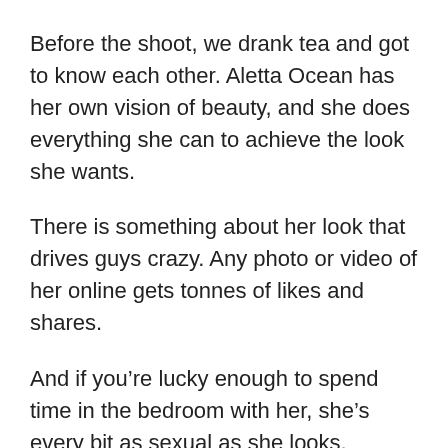Before the shoot, we drank tea and got to know each other. Aletta Ocean has her own vision of beauty, and she does everything she can to achieve the look she wants.
There is something about her look that drives guys crazy. Any photo or video of her online gets tonnes of likes and shares.
And if you’re lucky enough to spend time in the bedroom with her, she’s every bit as sexual as she looks.
Her body is amazing, and she knows exactly how to use it. There are so many curves, and everything about her is so hot that your eyes and hands don’t